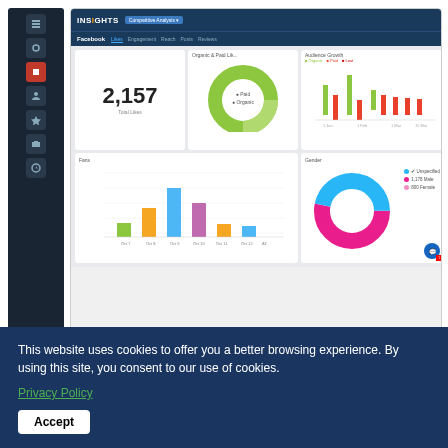[Figure (screenshot): Screenshot of ImageWorks Insights dashboard showing Facebook analytics with total likes (2,157), fans/paid donut chart, audience growth bar chart, fans bar chart, and gender donut chart]
ImageWorks Insights
[Figure (screenshot): Screenshot of Facebook search bar interface]
This website uses cookies to offer you a better browsing experience. By using this site, you consent to our use of cookies.
Privacy Policy
Accept